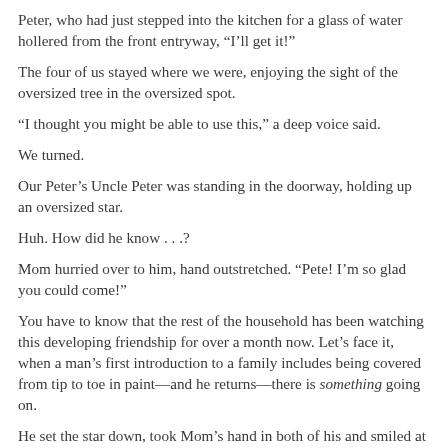Peter, who had just stepped into the kitchen for a glass of water hollered from the front entryway, “I’ll get it!”
The four of us stayed where we were, enjoying the sight of the oversized tree in the oversized spot.
“I thought you might be able to use this,” a deep voice said.
We turned.
Our Peter’s Uncle Peter was standing in the doorway, holding up an oversized star.
Huh. How did he know . . .?
Mom hurried over to him, hand outstretched. “Pete! I’m so glad you could come!”
You have to know that the rest of the household has been watching this developing friendship for over a month now. Let’s face it, when a man’s first introduction to a family includes being covered from tip to toe in paint—and he returns—there is something going on.
He set the star down, took Mom’s hand in both of his and smiled at her, his sun-browned face crinkling at the corners.